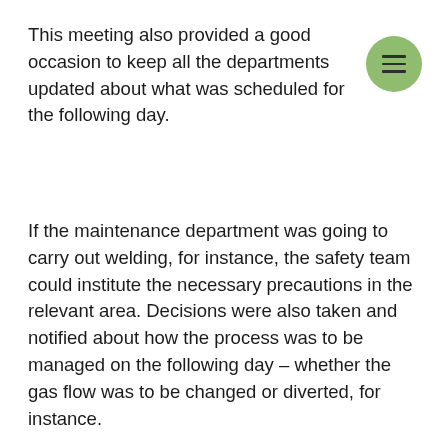This meeting also provided a good occasion to keep all the departments updated about what was scheduled for the following day.
If the maintenance department was going to carry out welding, for instance, the safety team could institute the necessary precautions in the relevant area. Decisions were also taken and notified about how the process was to be managed on the following day – whether the gas flow was to be changed or diverted, for instance.